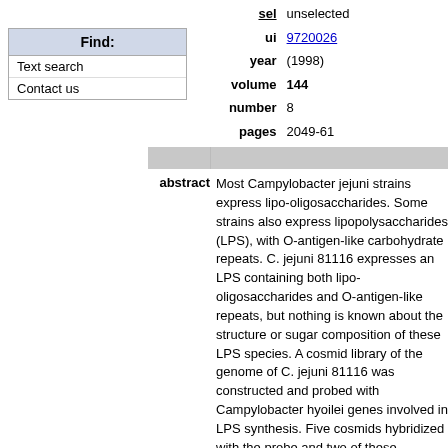| Find: |
| Text search |
| Contact us |
| sel | unselected |
| ui | 9720026 |
| year | (1998) |
| volume | 144 |
| number | 8 |
| pages | 2049-61 |
Most Campylobacter jejuni strains express lipo-oligosaccharides. Some strains also express lipopolysaccharides (LPS), with O-antigen-like carbohydrate repeats. C. jejuni 81116 expresses an LPS containing both lipo-oligosaccharides and O-antigen-like repeats, but nothing is known about the structure or sugar composition of these LPS species. A cosmid library of the genome of C. jejuni 81116 was constructed and probed with Campylobacter hyoilei genes involved in LPS synthesis. Five cosmids hybridized with the probe and two of these expressed C. jejuni 81116 LPS in Escherichia coli. By subcloning, a 16 kb DNA region was identified which contains the genetic information required to express C. jejuni LPS. DNA sequence analysis